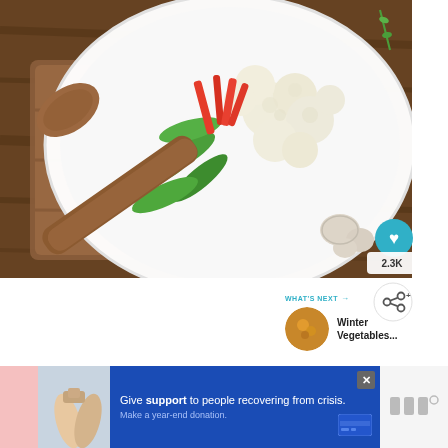[Figure (photo): Top-down food photo showing a white plate with cauliflower, green snap peas, and red pepper strips on a wooden cutting board with garlic cloves, with a wooden spoon, on a dark wood table surface]
2.3K
[Figure (infographic): Share button icon (circular white button with share/network icon)]
WHAT'S NEXT → Winter Vegetables...
[Figure (photo): Small circular thumbnail of winter vegetables dish]
[Figure (infographic): Advertisement banner: Give support to people recovering from crisis. Make a year-end donation. With close button and credit card icon.]